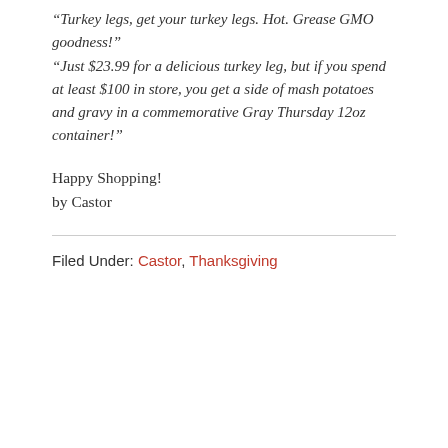“Turkey legs, get your turkey legs. Hot. Grease GMO goodness!” “Just $23.99 for a delicious turkey leg, but if you spend at least $100 in store, you get a side of mash potatoes and gravy in a commemorative Gray Thursday 12oz container!”
Happy Shopping!
by Castor
Filed Under: Castor, Thanksgiving